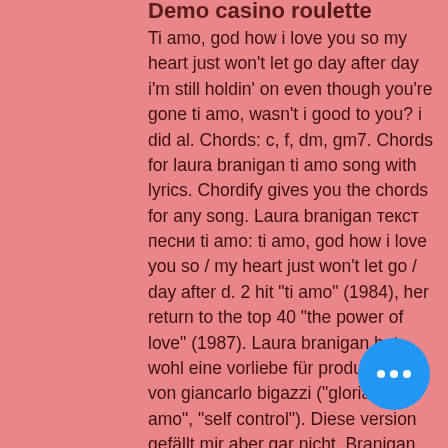Demo casino roulette
Ti amo, god how i love you so my heart just won't let go day after day i'm still holdin' on even though you're gone ti amo, wasn't i good to you? i did al. Chords: c, f, dm, gm7. Chords for laura branigan ti amo song with lyrics. Chordify gives you the chords for any song. Laura branigan текст песни ti amo: ti amo, god how i love you so / my heart just won't let go / day after d. 2 hit &quot;ti amo&quot; (1984), her return to the top 40 &quot;the power of love&quot; (1987). Laura branigan hat wohl eine vorliebe für produktionen von giancarlo bigazzi (&quot;gloria&quot;, &quot;ti amo&quot;, &quot;self control&quot;). Diese version gefällt mir aber gar nicht. Branigan would later record another tozzi hit ti amo. Your browser can't play this video. Free download of ti amo in high quality mp3. 20 songs available from laura branigan. Download music from more than 20000 african artists